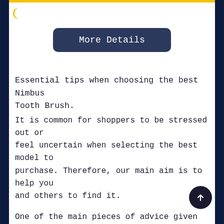[Figure (logo): Yellow crescent/moon icon in top left corner]
More Details
Essential tips when choosing the best Nimbus Tooth Brush.
It is common for shoppers to be stressed out or feel uncertain when selecting the best model to purchase. Therefore, our main aim is to help you and others to find it.
One of the main pieces of advice given is to research a product thoroughly before committing. The information available freely includes independent product reviews, YouTube channels, word-of-mouth recommendations